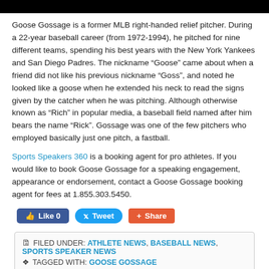[Figure (photo): Black header bar at top of page]
Goose Gossage is a former MLB right-handed relief pitcher. During a 22-year baseball career (from 1972-1994), he pitched for nine different teams, spending his best years with the New York Yankees and San Diego Padres. The nickname “Goose” came about when a friend did not like his previous nickname “Goss”, and noted he looked like a goose when he extended his neck to read the signs given by the catcher when he was pitching. Although otherwise known as “Rich” in popular media, a baseball field named after him bears the name “Rick”. Gossage was one of the few pitchers who employed basically just one pitch, a fastball.
Sports Speakers 360 is a booking agent for pro athletes. If you would like to book Goose Gossage for a speaking engagement, appearance or endorsement, contact a Goose Gossage booking agent for fees at 1.855.303.5450.
Like 0   Tweet   Share
FILED UNDER: ATHLETE NEWS, BASEBALL NEWS, SPORTS SPEAKER NEWS ◇ TAGGED WITH: GOOSE GOSSAGE